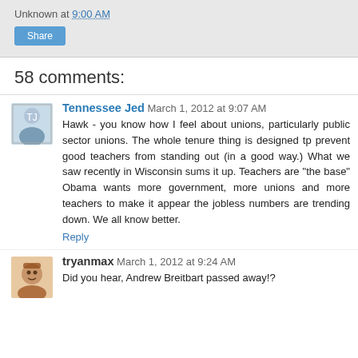Unknown at 9:00 AM
Share
58 comments:
Tennessee Jed  March 1, 2012 at 9:07 AM
Hawk - you know how I feel about unions, particularly public sector unions. The whole tenure thing is designed tp prevent good teachers from standing out (in a good way.) What we saw recently in Wisconsin sums it up. Teachers are "the base" Obama wants more government, more unions and more teachers to make it appear the jobless numbers are trending down. We all know better.
Reply
tryanmax  March 1, 2012 at 9:24 AM
Did you hear, Andrew Breitbart passed away!?